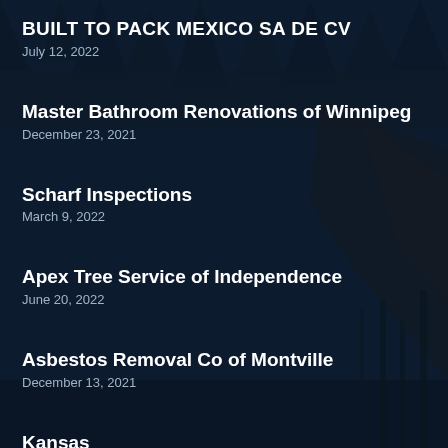BUILT TO PACK MEXICO SA DE CV
July 12, 2022
Master Bathroom Renovations of Winnipeg
December 23, 2021
Scharf Inspections
March 9, 2022
Apex Tree Service of Independence
June 20, 2022
Asbestos Removal Co of Montville
December 13, 2021
Kansas